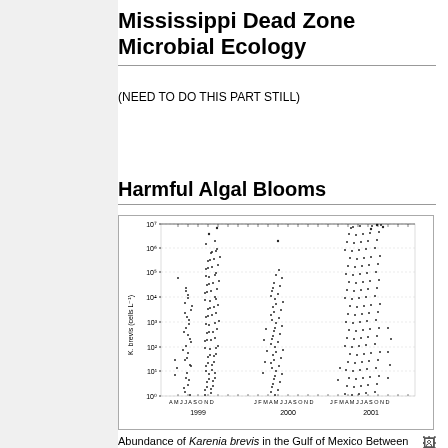Mississippi Dead Zone Microbial Ecology
(NEED TO DO THIS PART STILL)
Harmful Algal Blooms
[Figure (continuous-plot): Scatter plot of Karenia brevis (cells per liter) abundance in the Gulf of Mexico from 1999 to 2001. Y-axis is logarithmic from 10^0 to 10^7. X-axis shows months labeled A M J J A S O N D J F M A M J J A S O N D J F M A M J J A S O N D for years 1999, 2000, and 2001. Three dense clusters of data points are visible corresponding to bloom events in each year.]
Abundance of Karenia brevis in the Gulf of Mexico Between 1999-2001[10]